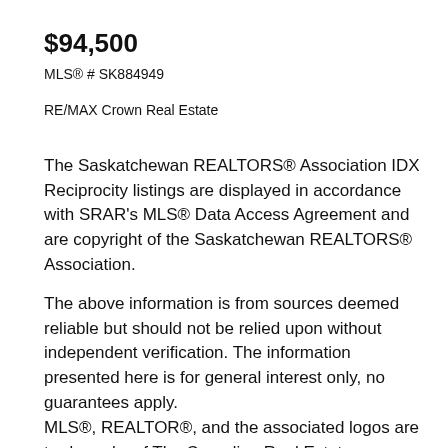$94,500
MLS® # SK884949
RE/MAX Crown Real Estate
The Saskatchewan REALTORS® Association IDX Reciprocity listings are displayed in accordance with SRAR's MLS® Data Access Agreement and are copyright of the Saskatchewan REALTORS® Association.
The above information is from sources deemed reliable but should not be relied upon without independent verification. The information presented here is for general interest only, no guarantees apply.
MLS®, REALTOR®, and the associated logos are trademarks of The Canadian Real Estate